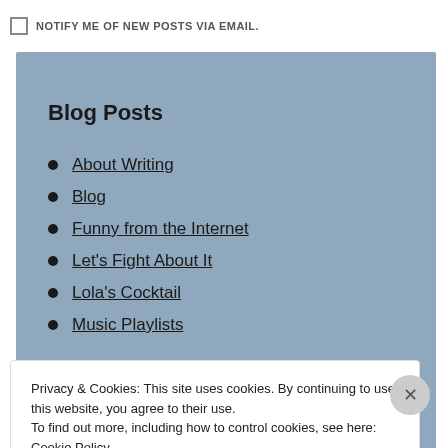NOTIFY ME OF NEW POSTS VIA EMAIL.
Blog Posts
About Writing
Blog
Funny from the Internet
Let's Fight About It
Lola's Cocktail
Music Playlists
Privacy & Cookies: This site uses cookies. By continuing to use this website, you agree to their use.
To find out more, including how to control cookies, see here: Cookie Policy
Close and accept